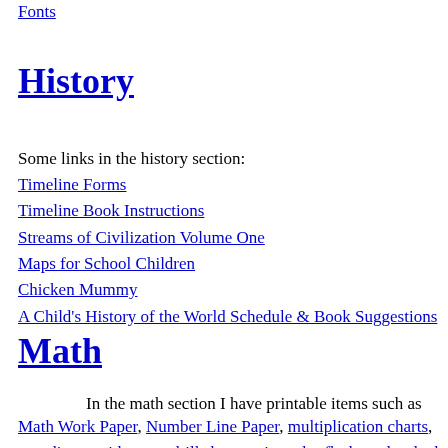Fonts
History
Some links in the history section:
Timeline Forms
Timeline Book Instructions
Streams of Civilization Volume One
Maps for School Children
Chicken Mummy
A Child's History of the World Schedule & Book Suggestions
Math
In the math section I have printable items such as Math Work Paper, Number Line Paper, multiplication charts, coordinate grid paper, drill sheets, triangular flash cards, clock